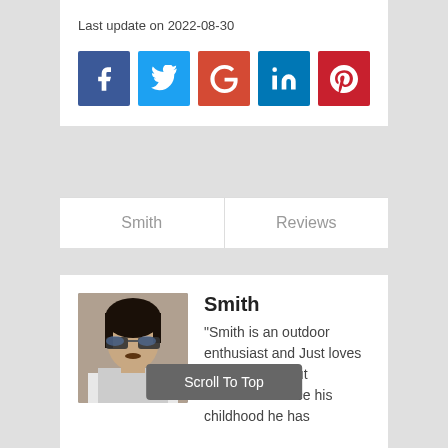Last update on 2022-08-30
[Figure (infographic): Row of five social media icon buttons: Facebook (blue), Twitter (light blue), Google+ (red-orange), LinkedIn (blue), Pinterest (red)]
Smith
Reviews
[Figure (photo): Profile photo of a man with sunglasses and dark hair]
Smith
"Smith is an outdoor enthusiast and Just loves everything about binoculars. Since his childhood he has
Scroll To Top